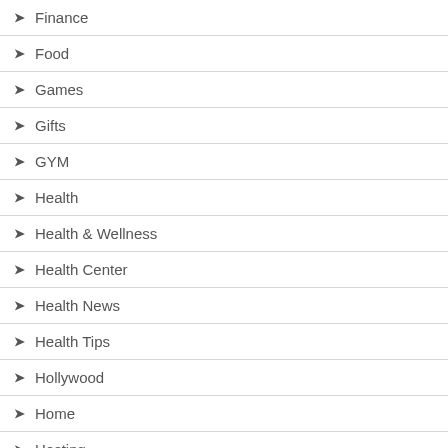Finance
Food
Games
Gifts
GYM
Health
Health & Wellness
Health Center
Health News
Health Tips
Hollywood
Home
Hosting